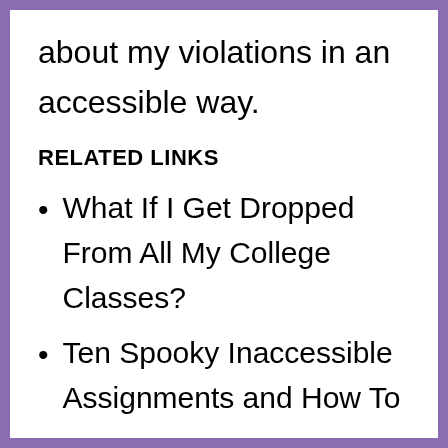about my violations in an accessible way.
RELATED LINKS
What If I Get Dropped From All My College Classes?
Ten Spooky Inaccessible Assignments and How To